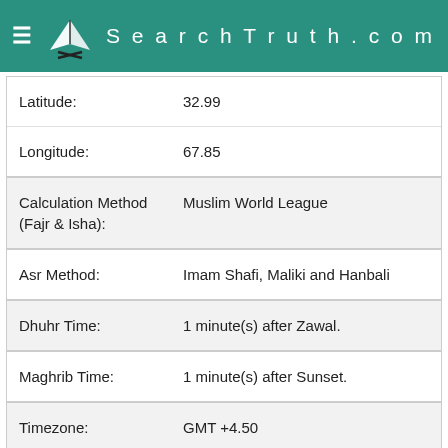SearchTruth.com
| Latitude: | 32.99 |
| Longitude: | 67.85 |
| Calculation Method (Fajr & Isha): | Muslim World League |
| Asr Method: | Imam Shafi, Maliki and Hanbali |
| Dhuhr Time: | 1 minute(s) after Zawal. |
| Maghrib Time: | 1 minute(s) after Sunset. |
| Timezone: | GMT +4.50 |
| Daylight Savings: | No |
Click here to Change